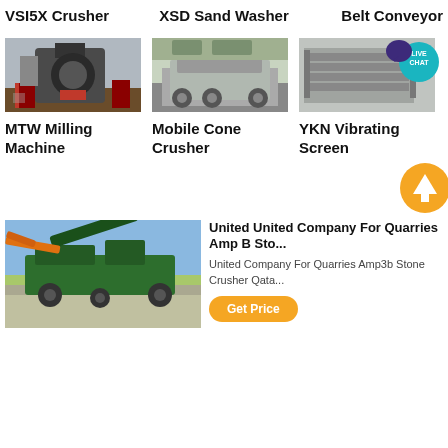VSI5X Crusher
[Figure (photo): VSI5X Crusher machine in industrial setting]
XSD Sand Washer
[Figure (photo): XSD Sand Washer mobile unit on truck]
Belt Conveyor
[Figure (photo): Belt Conveyor equipment, with Live Chat badge overlay]
MTW Milling Machine
Mobile Cone Crusher
YKN Vibrating Screen
[Figure (photo): Green mobile stone crusher machine in quarry]
United United Company For Quarries Amp B Sto...
United Company For Quarries Amp3b Stone Crusher Qata...
Get Price